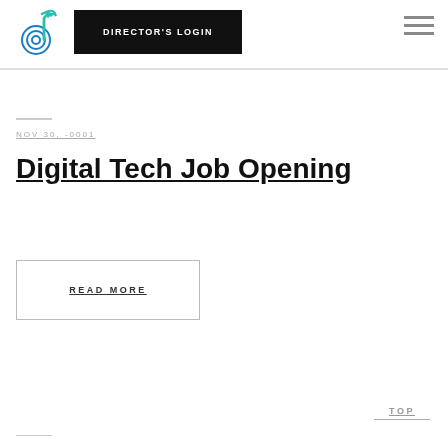[Figure (logo): Stylized music note / wave logo with teal and blue colors]
DIRECTOR'S LOGIN
NOV 30, -0001
Digital Tech Job Opening
READ MORE
TOP